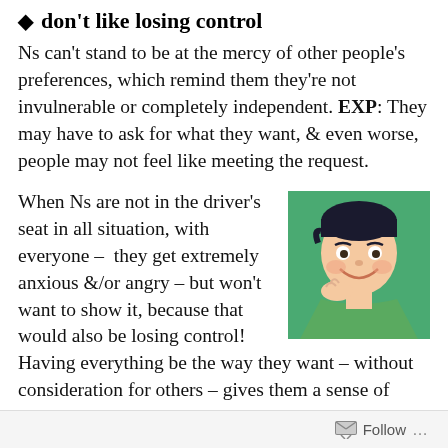◆ don't like losing control
Ns can't stand to be at the mercy of other people's preferences, which remind them they're not invulnerable or completely independent. EXP: They may have to ask for what they want, & even worse, people may not feel like meeting the request.
When Ns are not in the driver's seat in all situation, with everyone –  they get extremely anxious &/or angry – but won't want to show it, because that would also be losing control! Having everything be the way they want – without consideration for others – gives them a sense of security, knowing others
[Figure (illustration): Cartoon illustration of a smiling man with dark hair, wearing a green shirt, against a teal/green background]
Follow ...